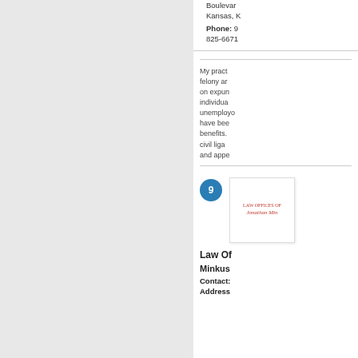Boulevard Kansas,
Phone: 9 825-6671
My practice focuses on felony and misdemeanor criminal defense, on expungement, representing individuals who have been unemployed and have been denied unemployment benefits. I also handle civil litigation, mediation, and appeals.
[Figure (logo): Law Offices of Jonathan Minkus logo card thumbnail]
Law Of
Minkus
Contact:
Address